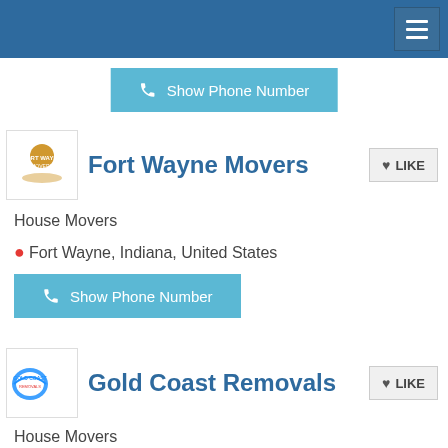Navigation header with hamburger menu
Show Phone Number
Fort Wayne Movers
House Movers
Fort Wayne, Indiana, United States
Show Phone Number
Gold Coast Removals
House Movers
Varsity Lakes, Queensland, Australia
Show Phone Number